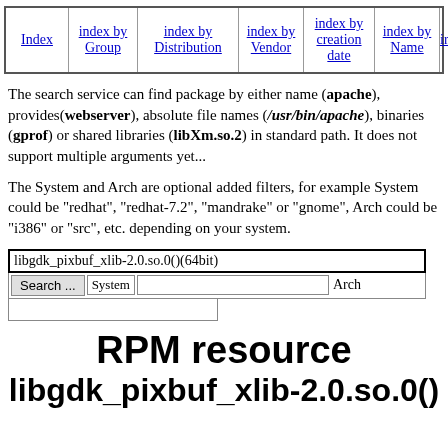| Index | index by Group | index by Distribution | index by Vendor | index by creation date | index by Name | Mirro |
| --- | --- | --- | --- | --- | --- | --- |
|  |
The search service can find package by either name (apache), provides(webserver), absolute file names (/usr/bin/apache), binaries (gprof) or shared libraries (libXm.so.2) in standard path. It does not support multiple arguments yet...
The System and Arch are optional added filters, for example System could be "redhat", "redhat-7.2", "mandrake" or "gnome", Arch could be "i386" or "src", etc. depending on your system.
libgdk_pixbuf_xlib-2.0.so.0()(64bit) [search form]
RPM resource libgdk_pixbuf_xlib-2.0.so.0()